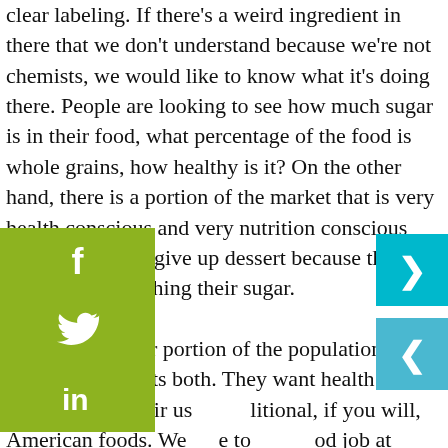clear labeling. If there's a weird ingredient in there that we don't understand because we're not chemists, we would like to know what it's doing there. People are looking to see how much sugar is in their food, what percentage of the food is whole grains, how healthy is it? On the other hand, there is a portion of the market that is very health conscious and very nutrition conscious and is willing to give up dessert because they're watching their sugar.

The larger portion of the population right now wants both. They want health and they want their usual, traditional, if you will, American foods. We have to do a good job at doing both and that's probably challenging. We serve people who like to eat.

We have to be careful not to be too cutting edge and yet very on trend. That's basically what we seek to do. We have a food development team that everyday is trying
[Figure (infographic): Green social sharing sidebar with Facebook, Twitter, and LinkedIn icons]
[Figure (infographic): Teal/cyan navigation arrows (next and previous) on the right edge]